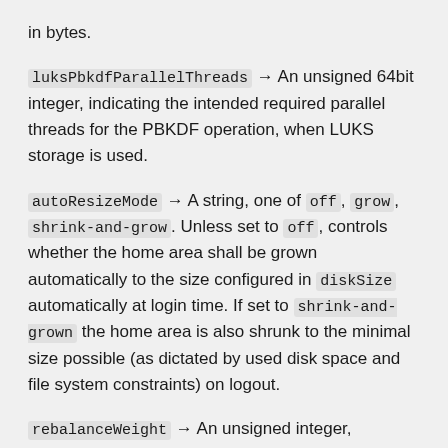in bytes.
luksPbkdfParallelThreads → An unsigned 64bit integer, indicating the intended required parallel threads for the PBKDF operation, when LUKS storage is used.
autoResizeMode → A string, one of off, grow, shrink-and-grow. Unless set to off, controls whether the home area shall be grown automatically to the size configured in diskSize automatically at login time. If set to shrink-and-grown the home area is also shrunk to the minimal size possible (as dictated by used disk space and file system constraints) on logout.
rebalanceWeight → An unsigned integer,